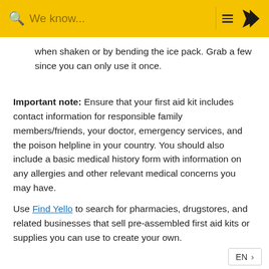We know...
when shaken or by bending the ice pack. Grab a few since you can only use it once.
Important note: Ensure that your first aid kit includes contact information for responsible family members/friends, your doctor, emergency services, and the poison helpline in your country. You should also include a basic medical history form with information on any allergies and other relevant medical concerns you may have.
Use Find Yello to search for pharmacies, drugstores, and related businesses that sell pre-assembled first aid kits or supplies you can use to create your own.